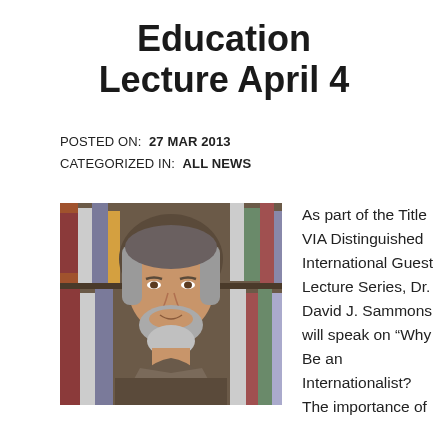Education Lecture April 4
POSTED ON: 27 Mar 2013
CATEGORIZED IN: All News
[Figure (photo): Portrait photo of Dr. David J. Sammons, a middle-aged man with gray and brown hair and a beard, standing in front of bookshelves]
As part of the Title VIA Distinguished International Guest Lecture Series, Dr. David J. Sammons will speak on “Why Be an Internationalist? The importance of